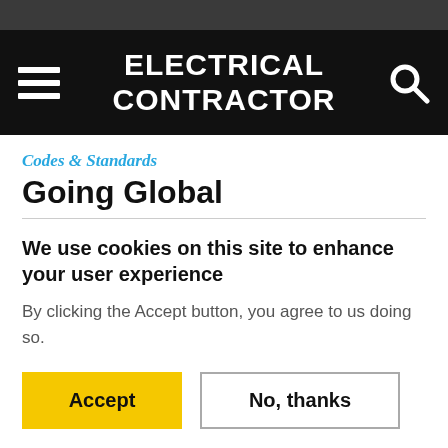ELECTRICAL CONTRACTOR
Codes & Standards
Going Global
We use cookies on this site to enhance your user experience
By clicking the Accept button, you agree to us doing so.
Accept | No, thanks